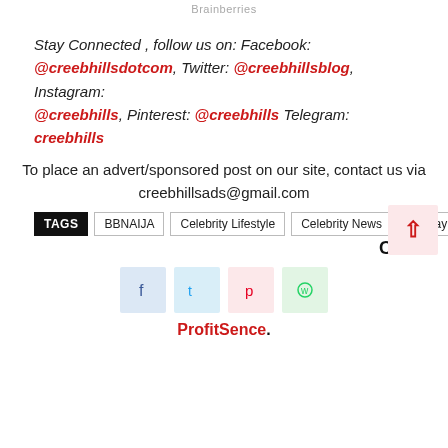Brainberries
Stay Connected , follow us on: Facebook: @creebhillsdotcom, Twitter: @creebhillsblog, Instagram: @creebhills, Pinterest: @creebhills Telegram: creebhills
To place an advert/sponsored post on our site, contact us via creebhillsads@gmail.com
TAGS  BBNAIJA  Celebrity Lifestyle  Celebrity News  Saskay
Close
[Figure (other): Social share buttons: Facebook, Twitter, Pinterest, WhatsApp icons in pastel colored boxes]
ProfitSence.